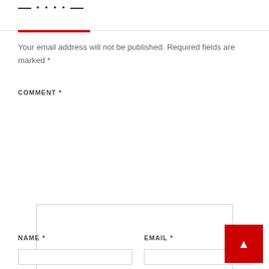— · · · · —·—·—·
Your email address will not be published. Required fields are marked *
COMMENT *
NAME *
EMAIL *